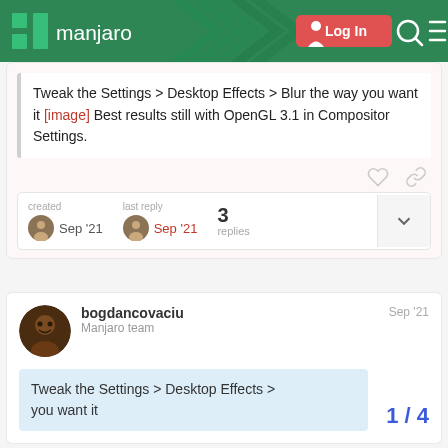[Figure (screenshot): Manjaro forum header with logo, Log In button, search icon, and hamburger menu on green background]
Tweak the Settings > Desktop Effects > Blur the way you want it [image] Best results still with OpenGL 3.1 in Compositor Settings.
created Sep '21   last reply Sep '21   3 replies
bogdancovaciu  Manjaro team  Sep '21
Tweak the Settings > Desktop Effects > you want it  1 / 4